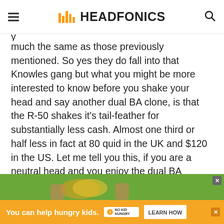HEADFONICS
much the same as those previously mentioned. So yes they do fall into that Knowles gang but what you might be more interested to know before you shake your head and say another dual BA clone, is that the R-50 shakes it's tail-feather for substantially less cash. Almost one third or half less in fact at 80 quid in the UK and $120 in the US. Let me tell you this, if you are a neutral head and you enjoy the dual BA signature then you are going to enjoy the R-50 and have a few pennies in your pocket from the savings as an added bonus.
[Figure (photo): Advertisement banner showing hands holding a yellow heart, with No Kid Hungry ad overlay]
[Figure (infographic): Orange advertisement banner: 'You can help hungry kids. NO KID HUNGRY. LEARN HOW']